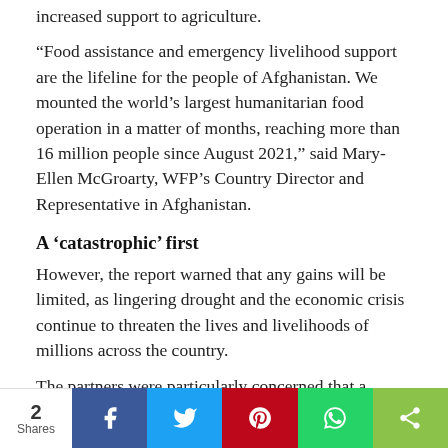increased support to agriculture.
“Food assistance and emergency livelihood support are the lifeline for the people of Afghanistan. We mounted the world’s largest humanitarian food operation in a matter of months, reaching more than 16 million people since August 2021,” said Mary-Ellen McGroarty, WFP’s Country Director and Representative in Afghanistan.
A ‘catastrophic’ first
However, the report warned that any gains will be limited, as lingering drought and the economic crisis continue to threaten the lives and livelihoods of millions across the country.
The partners were particularly concerned that a